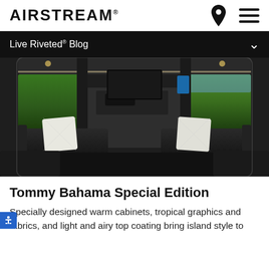AIRSTREAM
Live Riveted® Blog
[Figure (photo): Interior of an Airstream Tommy Bahama Special Edition vehicle showing two black leather sofas with white cushions, a center galley area, and windows revealing green tropical scenery outside.]
Tommy Bahama Special Edition
Specially designed warm cabinets, tropical graphics and fabrics, and light and airy top coating bring island style to